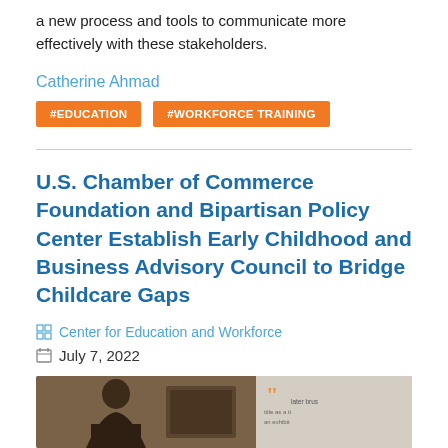a new process and tools to communicate more effectively with these stakeholders.
Catherine Ahmad
#EDUCATION
#WORKFORCE TRAINING
U.S. Chamber of Commerce Foundation and Bipartisan Policy Center Establish Early Childhood and Business Advisory Council to Bridge Childcare Gaps
Center for Education and Workforce
July 7, 2022
[Figure (photo): Photo of a person in a room with a quotation sign on the wall behind them]